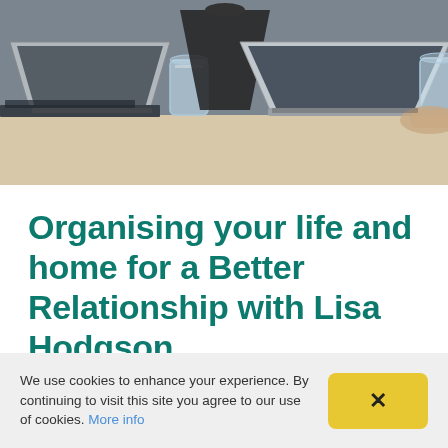[Figure (photo): Two laptops on a wooden desk with glasses of water and notebooks, people working at laptops in an office setting, gray background]
Organising your life and home for a Better Relationship with Lisa Hodgson
We use cookies to enhance your experience. By continuing to visit this site you agree to our use of cookies. More info